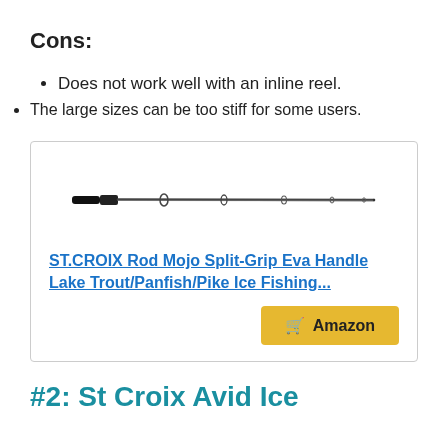Cons:
Does not work well with an inline reel.
The large sizes can be too stiff for some users.
[Figure (photo): Image of a fishing rod (ST.CROIX Rod Mojo Split-Grip Eva Handle) shown horizontally, black rod on white background]
ST.CROIX Rod Mojo Split-Grip Eva Handle Lake Trout/Panfish/Pike Ice Fishing...
#2: St Croix Avid Ice